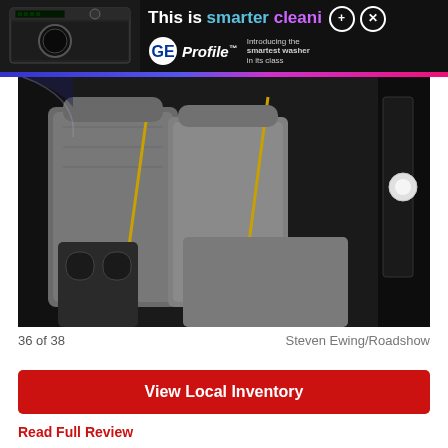[Figure (photo): Advertisement banner for GE Profile washer — dark background with washer appliance image on left, text 'This is smarter cleaning' with GE Profile logo and tagline 'Introducing the smartest washer in its class' on right]
[Figure (photo): Car interior photo showing gray leather rear seats of an SUV (appears to be a Cadillac) with seatbelts visible, viewed from the side door opening]
36 of 38
Steven Ewing/Roadshow
View Local Inventory
Read Full Review